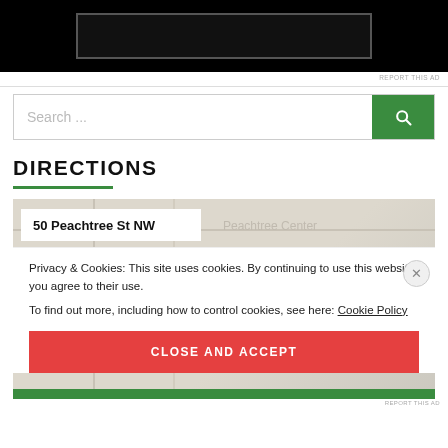[Figure (screenshot): Black advertisement banner with inner dark rectangle border]
REPORT THIS AD
[Figure (screenshot): Search bar with placeholder text 'Search ...' and green search button with magnifying glass icon]
DIRECTIONS
[Figure (map): Map screenshot showing 50 Peachtree St NW location with Peachtree Center label visible]
Privacy & Cookies: This site uses cookies. By continuing to use this website, you agree to their use.
To find out more, including how to control cookies, see here: Cookie Policy
CLOSE AND ACCEPT